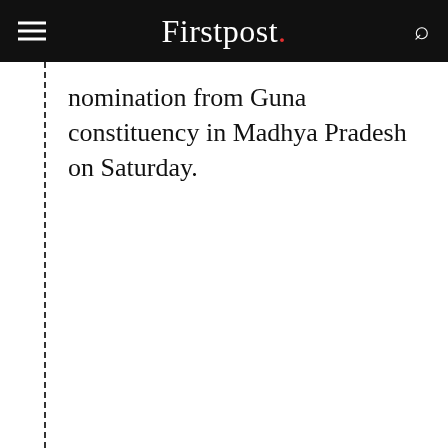Firstpost.
nomination from Guna constituency in Madhya Pradesh on Saturday.